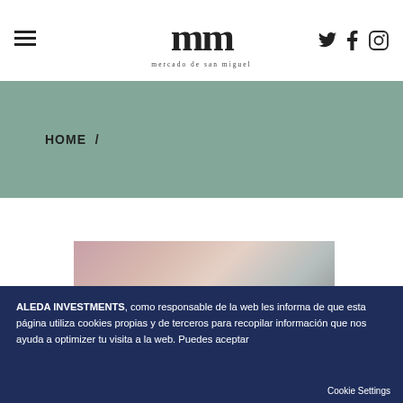mercado de san miguel — header with menu, logo, and social icons (Twitter, Facebook, Instagram)
HOME /
[Figure (photo): A partially visible photograph showing blurred warm-toned and grey background, likely a market or food scene]
ALEDA INVESTMENTS, como responsable de la web les informa de que esta página utiliza cookies propias y de terceros para recopilar información que nos ayuda a optimizer tu visita a la web. Puedes aceptar
Cookie Settings